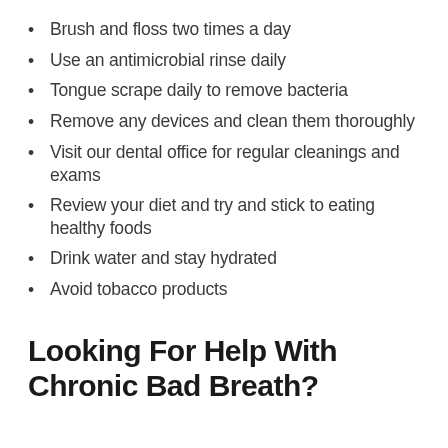Brush and floss two times a day
Use an antimicrobial rinse daily
Tongue scrape daily to remove bacteria
Remove any devices and clean them thoroughly
Visit our dental office for regular cleanings and exams
Review your diet and try and stick to eating healthy foods
Drink water and stay hydrated
Avoid tobacco products
Looking For Help With Chronic Bad Breath?